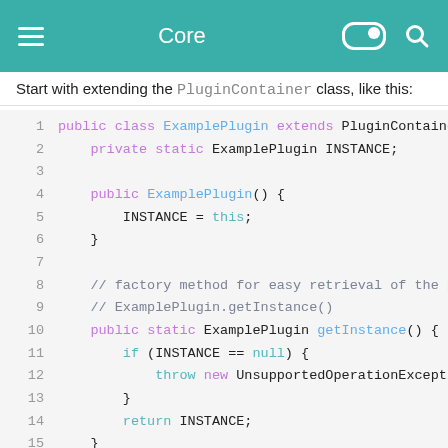Core
Start with extending the PluginContainer class, like this:
1  public class ExamplePlugin extends PluginContaine
2      private static ExamplePlugin INSTANCE;
3
4      public ExamplePlugin() {
5          INSTANCE = this;
6      }
7
8      // factory method for easy retrieval of the p
9      // ExamplePlugin.getInstance()
10     public static ExamplePlugin getInstance() {
11         if (INSTANCE == null) {
12             throw new UnsupportedOperationExcepti
13         }
14         return INSTANCE;
15     }
16
17     @Override
18     public void load() {
19         // Plugin load logic